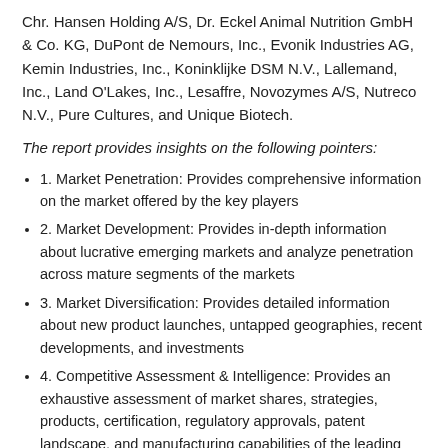Chr. Hansen Holding A/S, Dr. Eckel Animal Nutrition GmbH & Co. KG, DuPont de Nemours, Inc., Evonik Industries AG, Kemin Industries, Inc., Koninklijke DSM N.V., Lallemand, Inc., Land O'Lakes, Inc., Lesaffre, Novozymes A/S, Nutreco N.V., Pure Cultures, and Unique Biotech.
The report provides insights on the following pointers:
1. Market Penetration: Provides comprehensive information on the market offered by the key players
2. Market Development: Provides in-depth information about lucrative emerging markets and analyze penetration across mature segments of the markets
3. Market Diversification: Provides detailed information about new product launches, untapped geographies, recent developments, and investments
4. Competitive Assessment & Intelligence: Provides an exhaustive assessment of market shares, strategies, products, certification, regulatory approvals, patent landscape, and manufacturing capabilities of the leading players